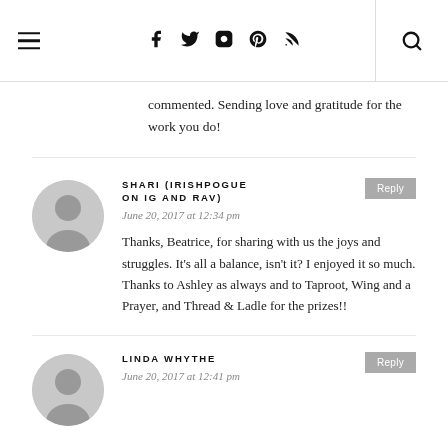navigation header with hamburger menu, social icons, and search
commented. Sending love and gratitude for the work you do!
SHARI (IRISHPOGUE ON IG AND RAV) — June 20, 2017 at 12:34 pm — Thanks, Beatrice, for sharing with us the joys and struggles. It's all a balance, isn't it? I enjoyed it so much. Thanks to Ashley as always and to Taproot, Wing and a Prayer, and Thread & Ladle for the prizes!!
LINDA WHYTHE — June 20, 2017 at 12:41 pm